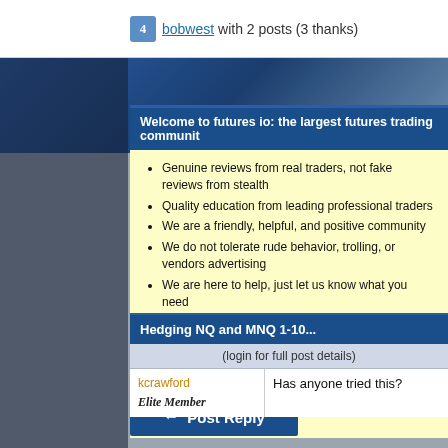bobwest with 2 posts (3 thanks)
Welcome to futures io: the largest futures trading communit...
Genuine reviews from real traders, not fake reviews from stealth...
Quality education from leading professional traders
We are a friendly, helpful, and positive community
We do not tolerate rude behavior, trolling, or vendors advertising...
We are here to help, just let us know what you need
You'll need to register in order to view the content of the threads and s...
-- Big Mike, Site Administrator
(If you already have an account, login at the top of the page)
Post Reply
Hedging NQ and MNQ 1-10...
(login for full post details)
kcrawford
Elite Member
Has anyone tried this?